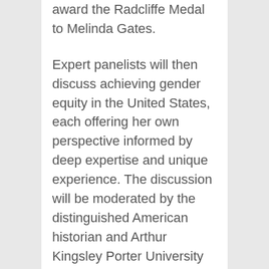award the Radcliffe Medal to Melinda Gates.
Expert panelists will then discuss achieving gender equity in the United States, each offering her own perspective informed by deep expertise and unique experience. The discussion will be moderated by the distinguished American historian and Arthur Kingsley Porter University Professor at Harvard University Drew Gilpin Faust, who was founding dean of the Radcliffe Institute and the first woman to